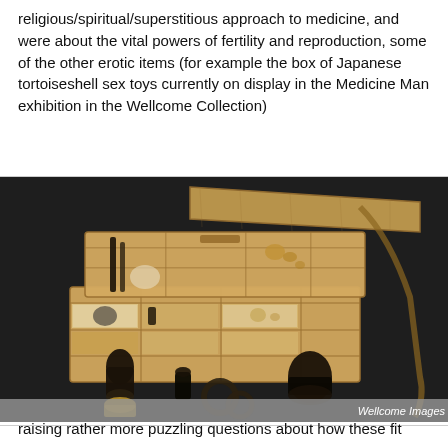religious/spiritual/superstitious approach to medicine, and were about the vital powers of fertility and reproduction, some of the other erotic items (for example the box of Japanese tortoiseshell sex toys currently on display in the Medicine Man exhibition in the Wellcome Collection)
[Figure (photo): A wooden compartmentalized box containing various Japanese tortoiseshell sex toys, with additional items displayed in front of the box on a dark background. A watermark reading 'Wellcome Images' appears in the lower right corner.]
raising rather more puzzling questions about how these fit